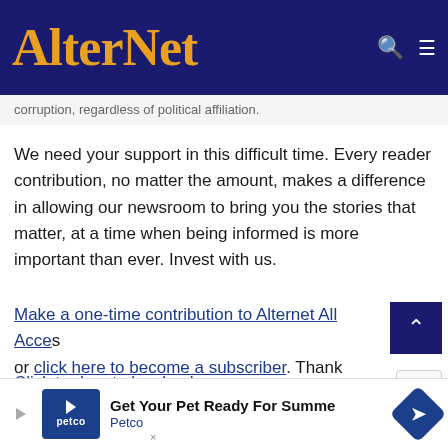AlterNet
corruption, regardless of political affiliation.
We need your support in this difficult time. Every reader contribution, no matter the amount, makes a difference in allowing our newsroom to bring you the stories that matter, at a time when being informed is more important than ever. Invest with us.
Make a one-time contribution to Alternet All Access, or click here to become a subscriber. Thank you.
Click to donate by check.
[Figure (screenshot): Petco advertisement banner: Get Your Pet Ready For Summer - Petco]
Ad: Get Your Pet Ready For Summe — Petco